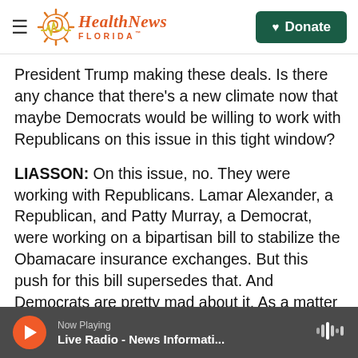Health News Florida — Donate
President Trump making these deals. Is there any chance that there's a new climate now that maybe Democrats would be willing to work with Republicans on this issue in this tight window?
LIASSON: On this issue, no. They were working with Republicans. Lamar Alexander, a Republican, and Patty Murray, a Democrat, were working on a bipartisan bill to stabilize the Obamacare insurance exchanges. But this push for this bill supersedes that. And Democrats are pretty mad about it. As a matter of fact, yesterday Senator Schumer said this would shut down bipartisanship for years to
Now Playing — Live Radio - News Informati...